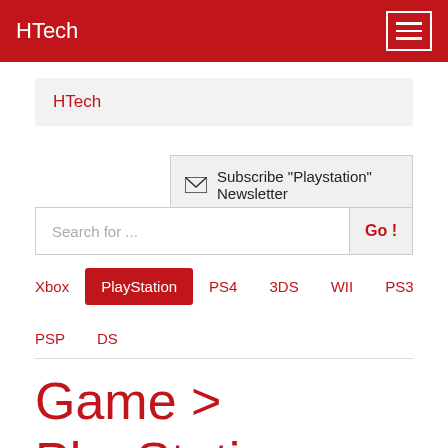HTech
HTech
Subscribe "Playstation" Newsletter
Search for ...
Xbox
PlayStation
PS4
3DS
WII
PS3
PSP
DS
Game > PlayStation